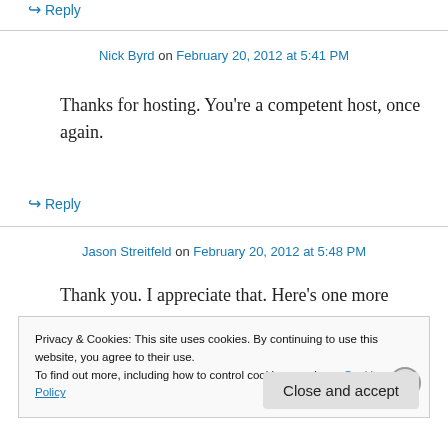↪ Reply
Nick Byrd on February 20, 2012 at 5:41 PM
Thanks for hosting. You're a competent host, once again.
↪ Reply
Jason Streitfeld on February 20, 2012 at 5:48 PM
Thank you. I appreciate that. Here's one more
Privacy & Cookies: This site uses cookies. By continuing to use this website, you agree to their use.
To find out more, including how to control cookies, see here: Cookie Policy
Close and accept